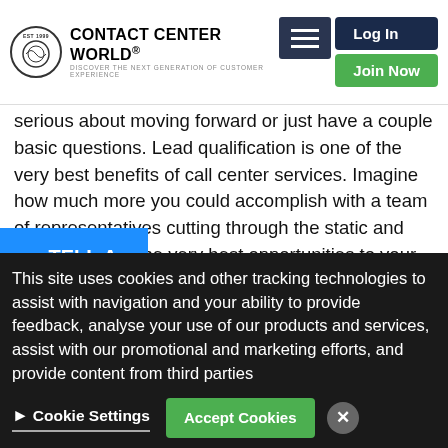Contact Center World - Discover The Next Generation Of Customer Experience
serious about moving forward or just have a couple basic questions. Lead qualification is one of the very best benefits of call center services. Imagine how much more you could accomplish with a team of representatives cutting through the static and delivering only the very best opportunities to your desk each day.
TELL A FRIEND
By taking a customized approach to lead qualifications, an after hours call answering service can quickly identify the best projects and opportunities. Highly-trained
BECOME A MEMBER
This site uses cookies and other tracking technologies to assist with navigation and your ability to provide feedback, analyse your use of our products and services, assist with our promotional and marketing efforts, and provide content from third parties
Cookie Settings  Accept Cookies
Enter Awards  + Much More